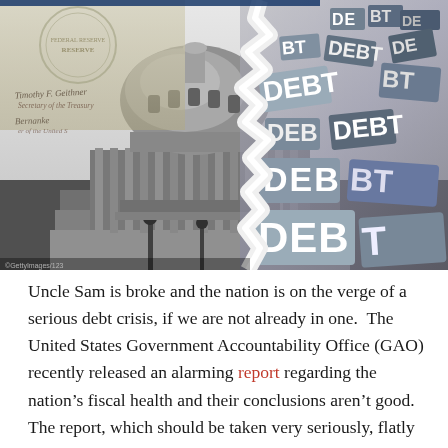[Figure (photo): Composite photograph showing the US Capitol building dome in black and white on the left, overlaid with a US currency/Federal Reserve seal in the upper left corner with handwritten signatures, and a collage of 3D 'DEBT' letters in the upper right and right side of the image, creating a visual metaphor about national debt.]
Uncle Sam is broke and the nation is on the verge of a serious debt crisis, if we are not already in one.  The United States Government Accountability Office (GAO) recently released an alarming report regarding the nation's fiscal health and their conclusions aren't good.  The report, which should be taken very seriously, flatly states, "The federal government faces an